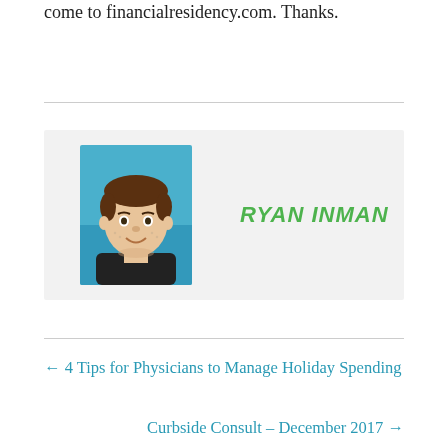come to financialresidency.com. Thanks.
[Figure (illustration): Cartoon avatar of Ryan Inman — a smiling man with brown hair against a blue background, comic-book style illustration]
RYAN INMAN
← 4 Tips for Physicians to Manage Holiday Spending
Curbside Consult – December 2017 →